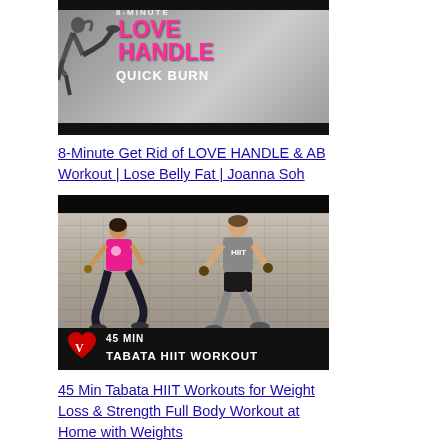[Figure (photo): Thumbnail image for '8-Minute Love Handle Quick Burn' workout video showing a woman doing a side plank exercise with pink text 'LOVE HANDLE' and white text 'QUICK BURN' on dark background]
8-Minute Get Rid of LOVE HANDLE & AB Workout | Lose Belly Fat | Joanna Soh
[Figure (photo): Thumbnail image for '45 Min Tabata HIIT Workout' video showing a man and woman doing lunge exercises with dumbbells in a gym with brick wall background, logo and text '45 MIN TABATA HIIT WORKOUT' on dark bottom band]
45 Min Tabata HIIT Workouts for Weight Loss & Strength Full Body Workout at Home with Weights